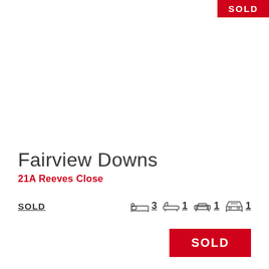SOLD
Fairview Downs
21A Reeves Close
SOLD
3 bedrooms, 1 bathroom, 1 reception, 1 garage
SOLD